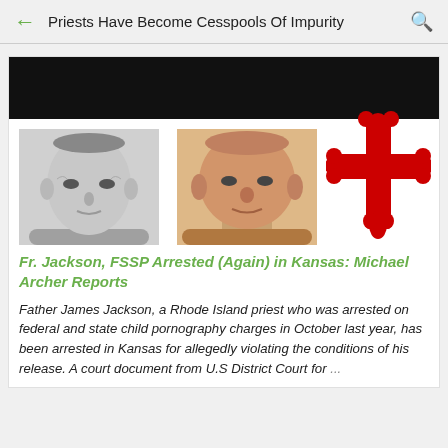Priests Have Become Cesspools Of Impurity
[Figure (photo): News article screenshot with two male faces (one grayscale, one color) and a red ornate cross symbol, plus a black banner at top]
Fr. Jackson, FSSP Arrested (Again) in Kansas: Michael Archer Reports
Father James Jackson, a Rhode Island priest who was arrested on federal and state child pornography charges in October last year, has been arrested in Kansas for allegedly violating the conditions of his release. A court document from U.S District Court for ...